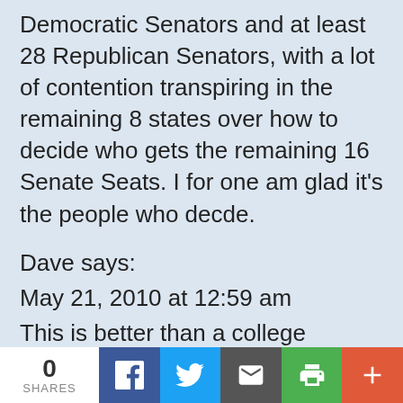Democratic Senators and at least 28 Republican Senators, with a lot of contention transpiring in the remaining 8 states over how to decide who gets the remaining 16 Senate Seats. I for one am glad it's the people who decde.
Dave says:
May 21, 2010 at 12:59 am
This is better than a college seminar. Thanks for all the great comments about the 17th Amendment. I think the amendment disrupted the balance the Founders' tried to achieve in
0 SHARES | Facebook | Twitter | Email | Print | More